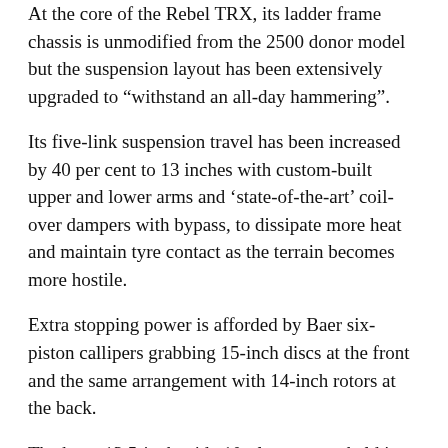At the core of the Rebel TRX, its ladder frame chassis is unmodified from the 2500 donor model but the suspension layout has been extensively upgraded to “withstand an all-day hammering”.
Its five-link suspension travel has been increased by 40 per cent to 13 inches with custom-built upper and lower arms and ‘state-of-the-art’ coil-over dampers with bypass, to dissipate more heat and maintain tyre contact as the terrain becomes more hostile.
Extra stopping power is afforded by Baer six-piston callipers grabbing 15-inch discs at the front and the same arrangement with 14-inch rotors at the back.
The huge 13.5-inch wide 10-ply tyres are held in place during aggressive acceleration, braking and cornering by Mopar beadlock wheels, but another two spares are included so owners are not left stranded in tricky terrain.
Conspicuous aesthetic upgrades accompany the mechanical enhancements with composite material flared arches to accommodate the massive wheels, a modified bonnet houses the